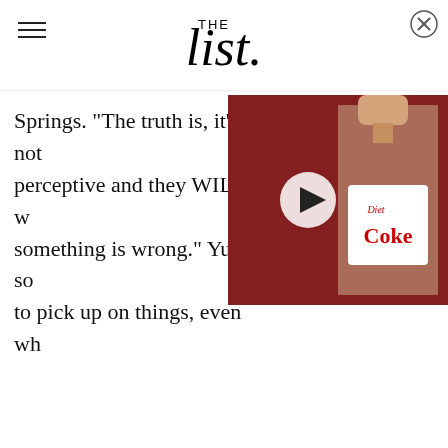THE list
Springs. "The truth is, it's not perceptive and they WILL wo something is wrong." Yup, so to pick up on things, even wh
[Figure (photo): A hand holding a small bottle of Diet Coke, with a red background. Video overlay with a play button.]